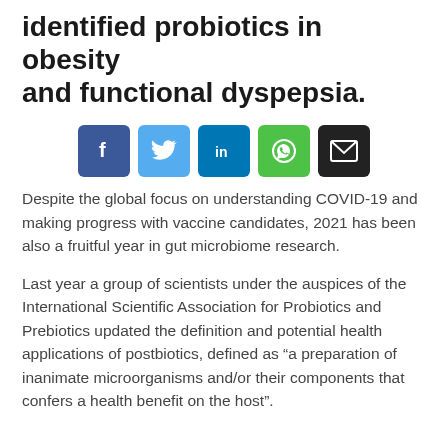identified probiotics in obesity and functional dyspepsia.
[Figure (infographic): Social sharing buttons: Facebook (blue), Twitter (light blue), LinkedIn (dark blue), WhatsApp (green), Email (black)]
Despite the global focus on understanding COVID-19 and making progress with vaccine candidates, 2021 has been also a fruitful year in gut microbiome research.
Last year a group of scientists under the auspices of the International Scientific Association for Probiotics and Prebiotics updated the definition and potential health applications of postbiotics, defined as “a preparation of inanimate microorganisms and/or their components that confers a health benefit on the host”.